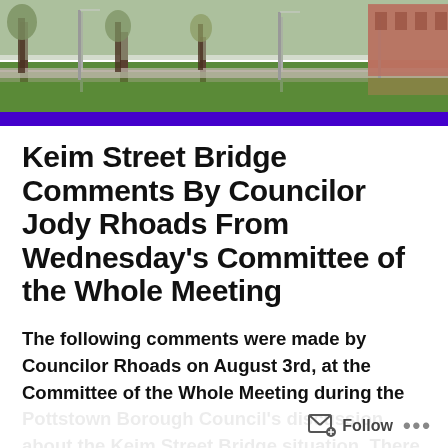[Figure (photo): Outdoor park scene with trees, lamp posts, sidewalk, and a brick building on the right side. Green grass and grey sky.]
Keim Street Bridge Comments By Councilor Jody Rhoads From Wednesday’s Committee of the Whole Meeting
The following comments were made by Councilor Rhoads on August 3rd, at the Committee of the Whole Meeting during the Pottstown Borough Council’s discussion about the Keim Street Bridge situation. There is debate about whether Council should stop pushing PennDOT to replace the Keim Street Bridge